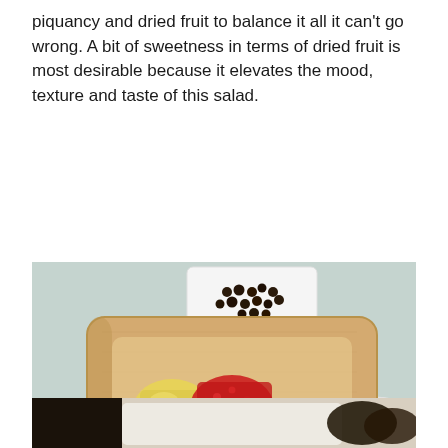piquancy and dried fruit to balance it all it can't go wrong. A bit of sweetness in terms of dried fruit is most desirable because it elevates the mood, texture and taste of this salad.
[Figure (photo): Overhead view of a wooden cutting board with colorful chopped ingredients: yellow fruit/pineapple, diced red peppers, chopped green celery/pepper, halved cherry tomatoes, and black olives. A white plate with rosemary and a small dish with dark berries/raisins visible in background on a teal tablecloth.]
[Figure (photo): Partial view of another food preparation scene, showing dark ingredients on a light surface, partially cut off at bottom of page.]